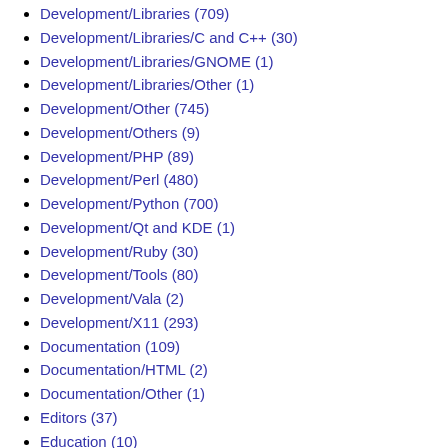Development/Libraries (709)
Development/Libraries/C and C++ (30)
Development/Libraries/GNOME (1)
Development/Libraries/Other (1)
Development/Other (745)
Development/Others (9)
Development/PHP (89)
Development/Perl (480)
Development/Python (700)
Development/Qt and KDE (1)
Development/Ruby (30)
Development/Tools (80)
Development/Vala (2)
Development/X11 (293)
Documentation (109)
Documentation/HTML (2)
Documentation/Other (1)
Editors (37)
Education (10)
Embedded (1)
Emulators (103)
File tools (67)
Fonts (2)
Games (4)
Games/Action (1)